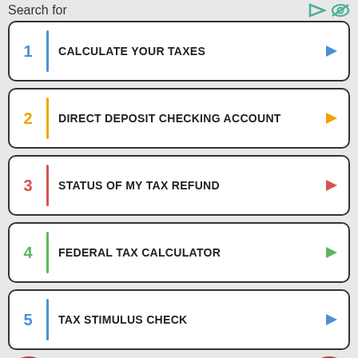Search for
1 CALCULATE YOUR TAXES
2 DIRECT DEPOSIT CHECKING ACCOUNT
3 STATUS OF MY TAX REFUND
4 FEDERAL TAX CALCULATOR
5 TAX STIMULUS CHECK
6 (partial)